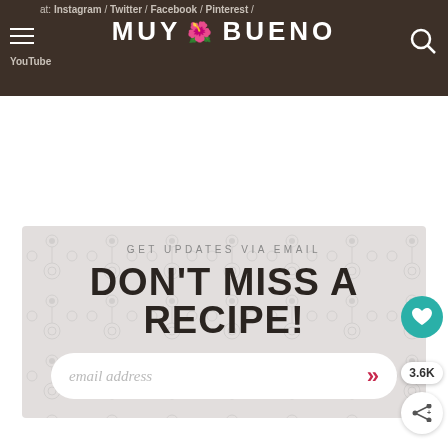at: Instagram / Twitter / Facebook / Pinterest / YouTube — MUY BUENO
GET UPDATES VIA EMAIL
DON'T MISS A RECIPE!
email address